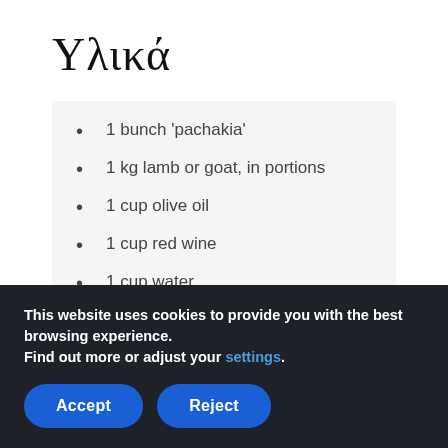Υλικά
1 bunch 'pachakia'
1 kg lamb or goat, in portions
1 cup olive oil
1 cup red wine
1 cup water
1 onion
1 tomato
This website uses cookies to provide you with the best browsing experience.
Find out more or adjust your settings.
Accept | Reject